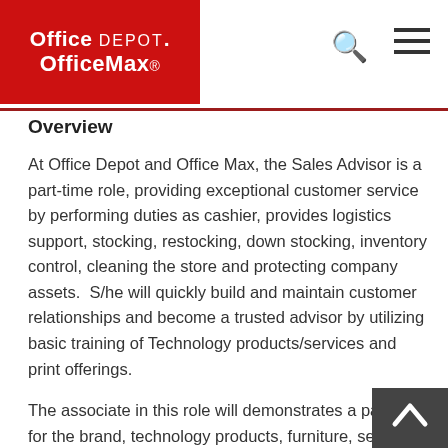Office Depot OfficeMax
Overview
At Office Depot and Office Max, the Sales Advisor is a part-time role, providing exceptional customer service by performing duties as cashier, provides logistics support, stocking, restocking, down stocking, inventory control, cleaning the store and protecting company assets.  S/he will quickly build and maintain customer relationships and become a trusted advisor by utilizing basic training of Technology products/services and print offerings.
The associate in this role will demonstrates a passion for the brand, technology products, furniture, services, print and other services/products offered to our customers. S/he will utilize Office Depot and Office Max's proven sales principles to proactively engage customers, in order to drive the sales of our total offerings and properly assess custome... to